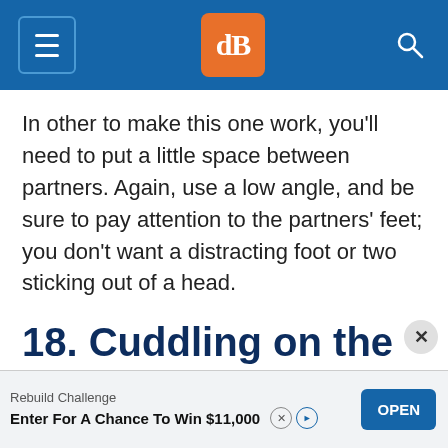dPS navigation header
In other to make this one work, you'll need to put a little space between partners. Again, use a low angle, and be sure to pay attention to the partners' feet; you don't want a distracting foot or two sticking out of a head.
18. Cuddling on the ground
Here's another intimate couple pose, one that
Rebuild Challenge
Enter For A Chance To Win $11,000  OPEN